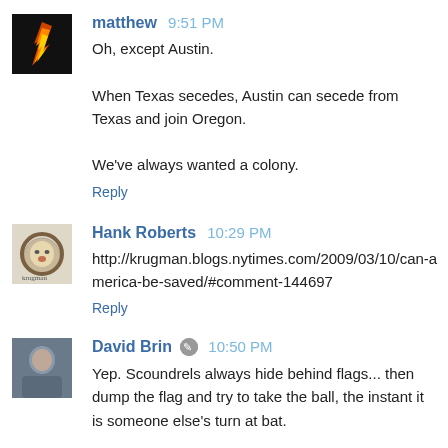matthew 9:51 PM
Oh, except Austin.

When Texas secedes, Austin can secede from Texas and join Oregon.

We've always wanted a colony.
Reply
Hank Roberts 10:29 PM
http://krugman.blogs.nytimes.com/2009/03/10/can-america-be-saved/#comment-144697
Reply
David Brin 10:50 PM
Yep. Scoundrels always hide behind flags... then dump the flag and try to take the ball, the instant it is someone else's turn at bat.